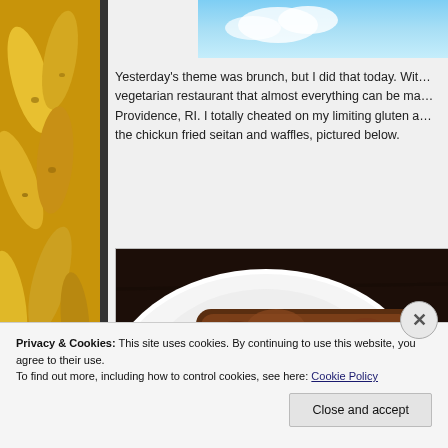[Figure (photo): Top partial image showing blue sky, cropped at top of visible area]
[Figure (photo): Left sidebar showing yellow bananas photograph, partially visible]
Yesterday's theme was brunch, but I did that today. With a vegetarian restaurant that almost everything can be ma... Providence, RI. I totally cheated on my limiting gluten a... the chickun fried seitan and waffles, pictured below.
[Figure (photo): A fried seitan dish served on a white plate, photographed from above on a dark wooden table]
Privacy & Cookies: This site uses cookies. By continuing to use this website, you agree to their use.
To find out more, including how to control cookies, see here: Cookie Policy
Close and accept